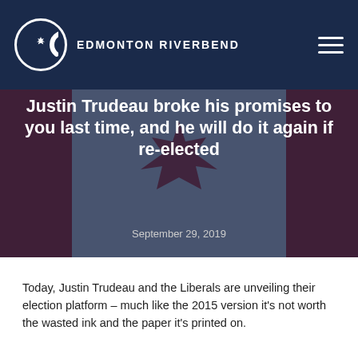EDMONTON RIVERBEND
Justin Trudeau broke his promises to you last time, and he will do it again if re-elected
September 29, 2019
Today, Justin Trudeau and the Liberals are unveiling their election platform – much like the 2015 version it's not worth the wasted ink and the paper it's printed on.